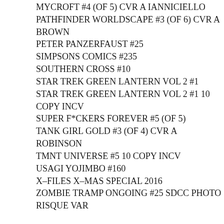MYCROFT #4 (OF 5) CVR A IANNICIELLO
PATHFINDER WORLDSCAPE #3 (OF 6) CVR A BROWN
PETER PANZERFAUST #25
SIMPSONS COMICS #235
SOUTHERN CROSS #10
STAR TREK GREEN LANTERN VOL 2 #1
STAR TREK GREEN LANTERN VOL 2 #1 10 COPY INCV
SUPER F*CKERS FOREVER #5 (OF 5)
TANK GIRL GOLD #3 (OF 4) CVR A ROBINSON
TMNT UNIVERSE #5 10 COPY INCV
USAGI YOJIMBO #160
X-FILES X-MAS SPECIAL 2016
ZOMBIE TRAMP ONGOING #25 SDCC PHOTO RISQUE VAR